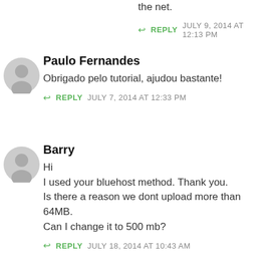was the best I could find on the net.
↩ REPLY   JULY 9, 2014 AT 12:13 PM
Paulo Fernandes
Obrigado pelo tutorial, ajudou bastante!
↩ REPLY   JULY 7, 2014 AT 12:33 PM
Barry
Hi
I used your bluehost method. Thank you.
Is there a reason we dont upload more than 64MB.
Can I change it to 500 mb?
↩ REPLY   JULY 18, 2014 AT 10:43 AM